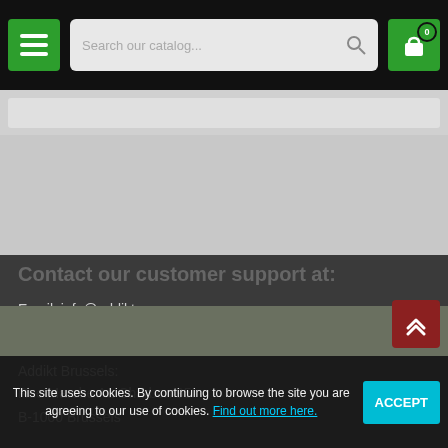[Figure (screenshot): Website header with hamburger menu button (green), search bar with placeholder 'Search our catalog...', and shopping cart icon with badge showing 0]
Contact our customer support at:
Email: info@addikt.eu
Whatsapp: +32494100966
Addikt Brussels:
Rue Marche Au Charbon 95
B-1000 Brussels
Tel.: +3223197578
This site uses cookies. By continuing to browse the site you are agreeing to our use of cookies. Find out more here.